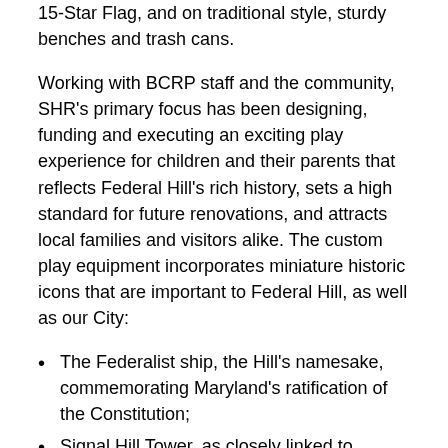15-Star Flag, and on traditional style, sturdy benches and trash cans.
Working with BCRP staff and the community, SHR's primary focus has been designing, funding and executing an exciting play experience for children and their parents that reflects Federal Hill's rich history, sets a high standard for future renovations, and attracts local families and visitors alike. The custom play equipment incorporates miniature historic icons that are important to Federal Hill, as well as our City:
The Federalist ship, the Hill's namesake, commemorating Maryland's ratification of the Constitution;
Signal Hill Tower, as closely linked to Baltimore's mercantile heritage as ships are to its maritime history;
Fort Federal Hill, the extensive military installation that dominated the Hill during the Civil War.